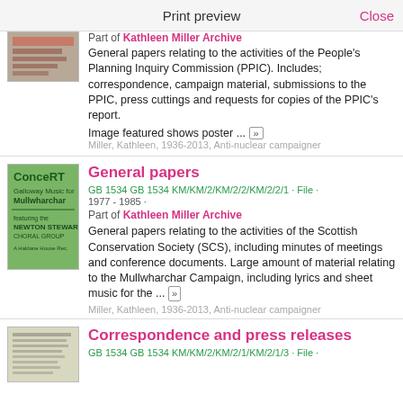Print preview    Close
Part of Kathleen Miller Archive
General papers relating to the activities of the People's Planning Inquiry Commission (PPIC). Includes; correspondence, campaign material, submissions to the PPIC, press cuttings and requests for copies of the PPIC's report.
Image featured shows poster ...
Miller, Kathleen, 1936-2013, Anti-nuclear campaigner
General papers
GB 1534 GB 1534 KM/KM/2/KM/2/2/KM/2/2/1 · File · 1977 - 1985 ·
Part of Kathleen Miller Archive
General papers relating to the activities of the Scottish Conservation Society (SCS), including minutes of meetings and conference documents. Large amount of material relating to the Mullwharchar Campaign, including lyrics and sheet music for the ...
Miller, Kathleen, 1936-2013, Anti-nuclear campaigner
Correspondence and press releases
GB 1534 GB 1534 KM/KM/2/KM/2/1/KM/2/1/3 · File ·